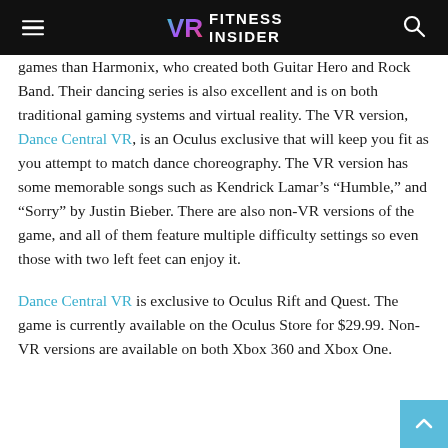VR FITNESS INSIDER
games than Harmonix, who created both Guitar Hero and Rock Band. Their dancing series is also excellent and is on both traditional gaming systems and virtual reality. The VR version, Dance Central VR, is an Oculus exclusive that will keep you fit as you attempt to match dance choreography. The VR version has some memorable songs such as Kendrick Lamar's “Humble,” and “Sorry” by Justin Bieber. There are also non-VR versions of the game, and all of them feature multiple difficulty settings so even those with two left feet can enjoy it.
Dance Central VR is exclusive to Oculus Rift and Quest. The game is currently available on the Oculus Store for $29.99. Non-VR versions are available on both Xbox 360 and Xbox One.